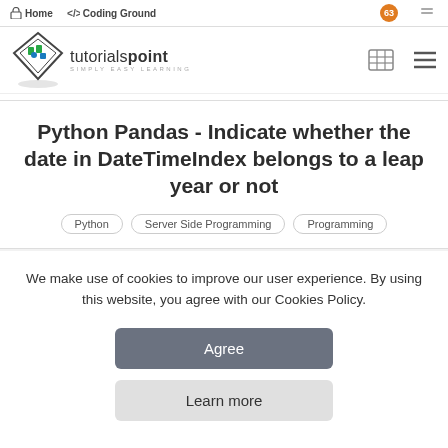Home  Coding Ground
[Figure (logo): Tutorialspoint logo — diamond shape with figure inside, text 'tutorialspoint SIMPLY EASY LEARNING']
Python Pandas - Indicate whether the date in DateTimeIndex belongs to a leap year or not
Python
Server Side Programming
Programming
We make use of cookies to improve our user experience. By using this website, you agree with our Cookies Policy.
Agree
Learn more